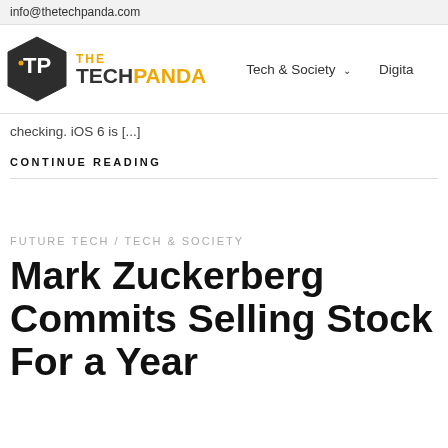info@thetechpanda.com
[Figure (logo): The Tech Panda logo with hexagon icon and navigation links including Tech & Society and Digital]
checking. iOS 6 is [...]
CONTINUE READING
FUTURE TECH / TECH & SOCIETY
Mark Zuckerberg Commits Selling Stock For a Year